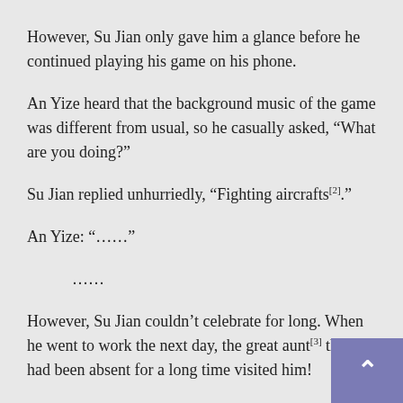However, Su Jian only gave him a glance before he continued playing his game on his phone.
An Yize heard that the background music of the game was different from usual, so he casually asked, “What are you doing?”
Su Jian replied unhurriedly, “Fighting aircrafts[2].”
An Yize: “……”
……
However, Su Jian couldn’t celebrate for long. When he went to work the next day, the great aunt[3] that had been absent for a long time visited him!
In an irritable mood, his smiling face was not prese during lesson. When he was collecting homework and